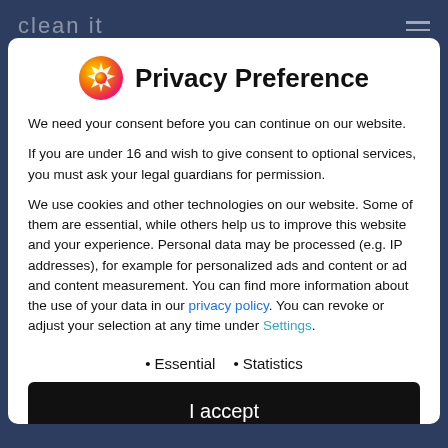clean it
Privacy Preference
We need your consent before you can continue on our website.
If you are under 16 and wish to give consent to optional services, you must ask your legal guardians for permission.
We use cookies and other technologies on our website. Some of them are essential, while others help us to improve this website and your experience. Personal data may be processed (e.g. IP addresses), for example for personalized ads and content or ad and content measurement. You can find more information about the use of your data in our privacy policy. You can revoke or adjust your selection at any time under Settings.
Essential
Statistics
I accept